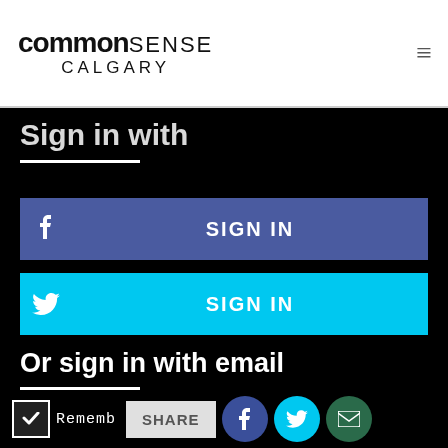common SENSE CALGARY
Sign in with
SIGN IN (Facebook)
SIGN IN (Twitter)
Or sign in with email
Email Address
Password
Rememb... SHARE